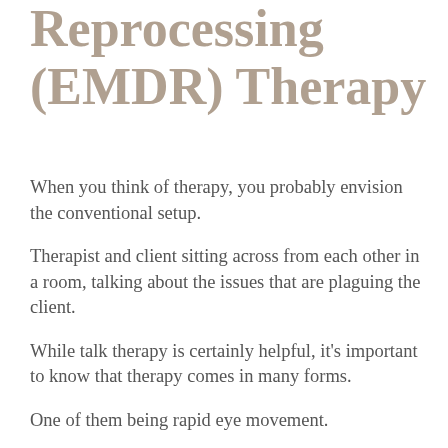Reprocessing (EMDR) Therapy
When you think of therapy, you probably envision the conventional setup.
Therapist and client sitting across from each other in a room, talking about the issues that are plaguing the client.
While talk therapy is certainly helpful, it's important to know that therapy comes in many forms.
One of them being rapid eye movement.
Huh?